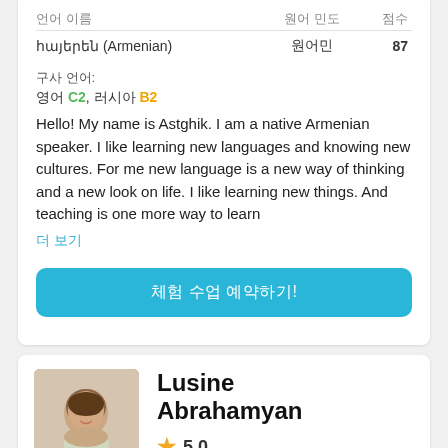| 언어 이름 | 원어 민도 | 점수 |
| --- | --- | --- |
| հայերեն (Armenian) | 원어민 | 87 |
구사 언어:
영어 C2, 러시아 B2
Hello! My name is Astghik. I am a native Armenian speaker. I like learning new languages and knowing new cultures. For me new language is a new way of thinking and a new look on life. I like learning new things. And teaching is one more way to learn
더 보기
체험 수업 예약하기!
Lusine Abrahamyan
5.0
US$28